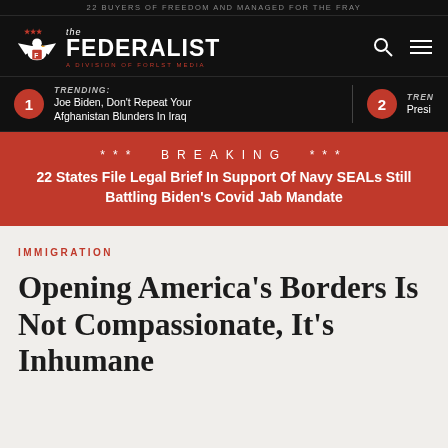22 BUYERS OF FREEDOM AND MANAGED FOR THE FRAY
[Figure (logo): The Federalist logo with eagle and text 'the FEDERALIST A DIVISION OF FORLST MEDIA']
TRENDING: Joe Biden, Don't Repeat Your Afghanistan Blunders In Iraq
TRENDING: 2 Presi...
*** BREAKING *** 22 States File Legal Brief In Support Of Navy SEALs Still Battling Biden's Covid Jab Mandate
IMMIGRATION
Opening America's Borders Is Not Compassionate, It's Inhumane